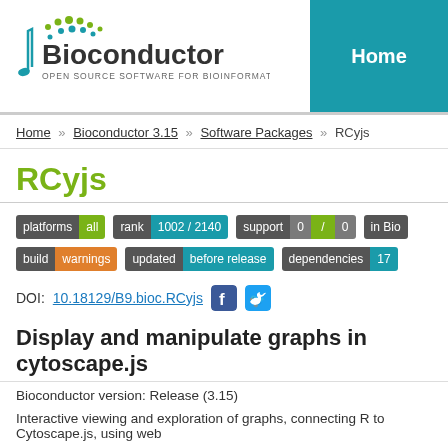[Figure (logo): Bioconductor logo with musical note and dotted helix graphic. Text: Bioconductor OPEN SOURCE SOFTWARE FOR BIOINFORMATICS]
Home
Home » Bioconductor 3.15 » Software Packages » RCyjs
RCyjs
platforms all   rank 1002 / 2140   support 0 / 0   in Bio…   build warnings   updated before release   dependencies 17
DOI: 10.18129/B9.bioc.RCyjs
Display and manipulate graphs in cytoscape.js
Bioconductor version: Release (3.15)
Interactive viewing and exploration of graphs, connecting R to Cytoscape.js, using web...
Author: Paul Shannon...